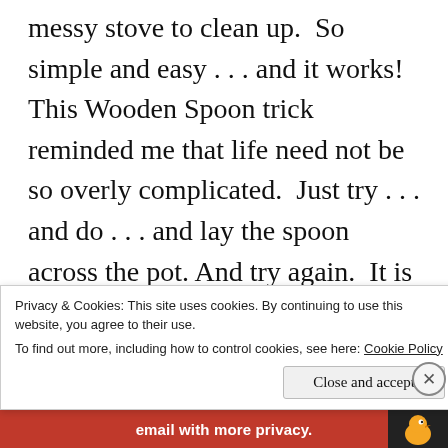messy stove to clean up.  So simple and easy . . . and it works!  This Wooden Spoon trick reminded me that life need not be so overly complicated.  Just try . . . and do . . . and lay the spoon across the pot. And try again.  It is absolutely possible to turn a moment of my day into a gesture of mindfulness.  I can
Privacy & Cookies: This site uses cookies. By continuing to use this website, you agree to their use.
To find out more, including how to control cookies, see here: Cookie Policy
Close and accept
email with more privacy.